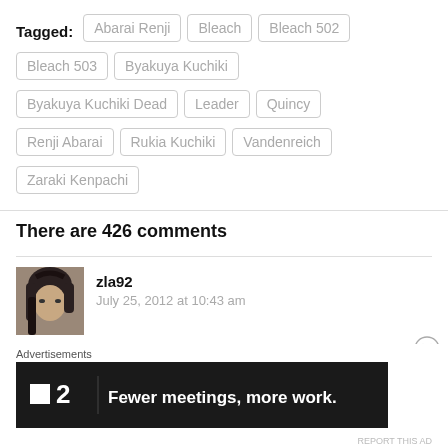Tagged: Abarai Renji, Bleach, Bleach 502, Bleach 503, Byakuya Kuchiki, Byakuya Kuchiki Dead, Leader, Quincy, Renji Abarai, Rukia Kuchiki, Vandenreich, Zaraki Kenpachi
There are 426 comments
zla92
July 25, 2012 at 10:43 am
[Figure (screenshot): Advertisement banner: logo with square icon and '2', text 'Fewer meetings, more work.' on dark background]
Advertisements